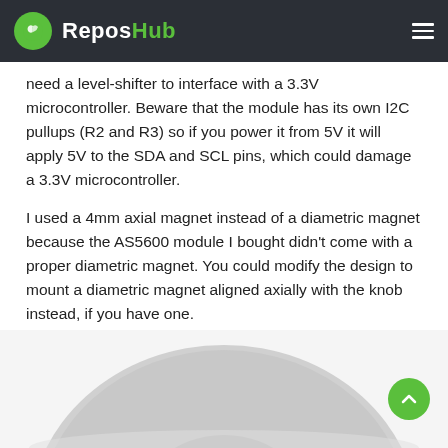ReposHub
need a level-shifter to interface with a 3.3V microcontroller. Beware that the module has its own I2C pullups (R2 and R3) so if you power it from 5V it will apply 5V to the SDA and SCL pins, which could damage a 3.3V microcontroller.
I used a 4mm axial magnet instead of a diametric magnet because the AS5600 module I bought didn't come with a proper diametric magnet. You could modify the design to mount a diametric magnet aligned axially with the knob instead, if you have one.
3D Printed Parts
[Figure (photo): 3D printed circular part, light gray, viewed from above, partially visible at the bottom of the page.]